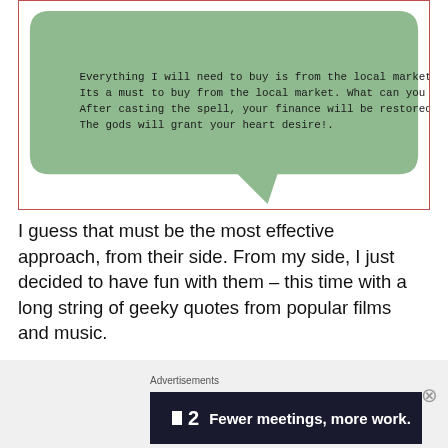[Figure (illustration): A green speech bubble (rounded rectangle with a tail pointing down-right) containing text: 'Everything I will need to buy is from the local market. Its a must to buy from the local market. What can you come up with. After casting the spell, your finance will be restored!. The gods will grant your heart desire!.' The bubble is inside a red-bordered rectangle.]
I guess that must be the most effective approach, from their side. From my side, I just decided to have fun with them – this time with a long string of geeky quotes from popular films and music.
Advertisements
[Figure (screenshot): Advertisement banner with dark background showing logo '■2' and text 'Fewer meetings, more work.']